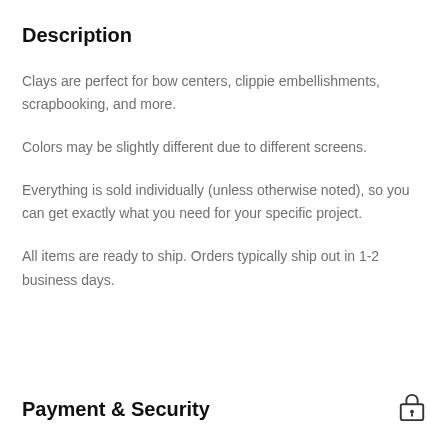Description
Clays are perfect for bow centers, clippie embellishments, scrapbooking, and more.
Colors may be slightly different due to different screens.
Everything is sold individually (unless otherwise noted), so you can get exactly what you need for your specific project.
All items are ready to ship. Orders typically ship out in 1-2 business days.
Payment & Security